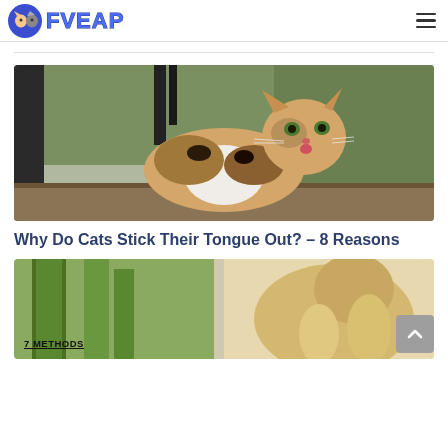FVEAP
[Figure (photo): A calico cat sitting on a wooden shelf with ornamental iron railing in the background, with its tongue slightly sticking out. Green foliage visible in background.]
Why Do Cats Stick Their Tongue Out? – 8 Reasons
[Figure (photo): A long-haired cat near green plants/cucumber. A badge overlay reads '7 METHODS' in underlined bold text.]